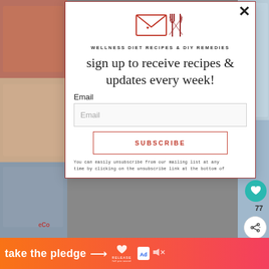[Figure (screenshot): Background food photos on left and right sides of screen, partially visible behind modal dialog]
[Figure (logo): Envelope icon with fork and knife crossed over it, in pinkish-red color, serving as newsletter logo]
WELLNESS DIET RECIPES & DIY REMEDIES
sign up to receive recipes & updates every week!
Email
Email
SUBSCRIBE
You can easily unsubscribe from our mailing list at any time by clicking on the unsubscribe link at the bottom of
[Figure (infographic): Orange-to-pink gradient advertisement banner at bottom: 'take the pledge' with arrow, Release logo with heart, ad marker icon, and speaker/mute icon]